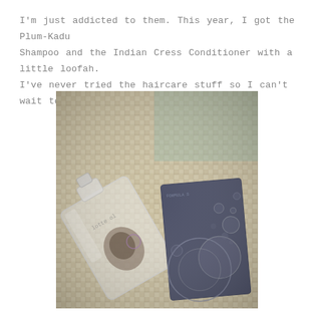I'm just addicted to them. This year, I got the Plum-Kadu Shampoo and the Indian Cress Conditioner with a little loofah. I've never tried the haircare stuff so I can't wait to use this.
[Figure (photo): Photo of a clear glass shampoo bottle lying on its side on a woven mat/rattan surface, next to a dark navy blue box (Indian Cress Conditioner packaging) with circular bubble graphic design. The image has a vintage/faded filter applied.]